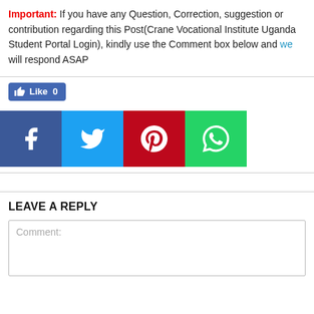Important: If you have any Question, Correction, suggestion or contribution regarding this Post(Crane Vocational Institute Uganda Student Portal Login), kindly use the Comment box below and we will respond ASAP
[Figure (infographic): Facebook Like button showing 'Like 0']
[Figure (infographic): Social share buttons: Facebook, Twitter, Pinterest, WhatsApp]
LEAVE A REPLY
Comment: